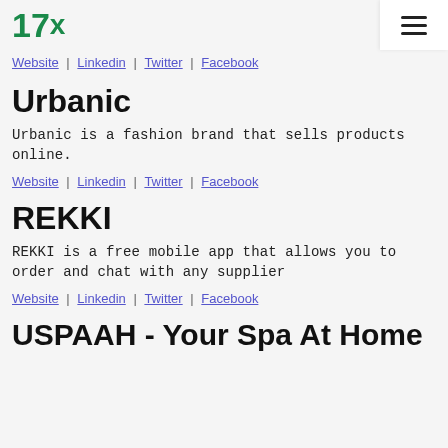17x
Website | Linkedin | Twitter | Facebook
Urbanic
Urbanic is a fashion brand that sells products online.
Website | Linkedin | Twitter | Facebook
REKKI
REKKI is a free mobile app that allows you to order and chat with any supplier
Website | Linkedin | Twitter | Facebook
USPAAH - Your Spa At Home